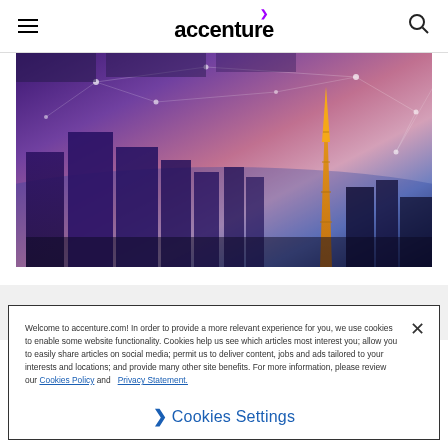accenture
[Figure (photo): Tokyo city skyline at dusk with Tokyo Tower illuminated in gold, overlaid with purple/pink digital network connection lines and nodes suggesting smart city or digital connectivity theme]
What we do
Welcome to accenture.com! In order to provide a more relevant experience for you, we use cookies to enable some website functionality. Cookies help us see which articles most interest you; allow you to easily share articles on social media; permit us to deliver content, jobs and ads tailored to your interests and locations; and provide many other site benefits. For more information, please review our Cookies Policy and Privacy Statement.
❯ Cookies Settings